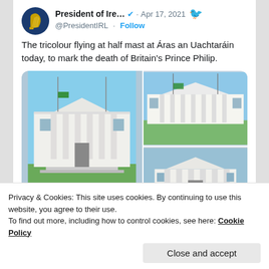[Figure (screenshot): Screenshot of a Twitter/web page showing a tweet from President of Ireland (@PresidentIRL) dated Apr 17, 2021, with text about the tricolour flying at half mast at Áras an Uachtaráin to mark the death of Britain's Prince Philip, accompanied by three photos of a white neoclassical building. Below is a partial view of a Ben Kelly tweet. A cookie consent banner overlays the bottom of the page.]